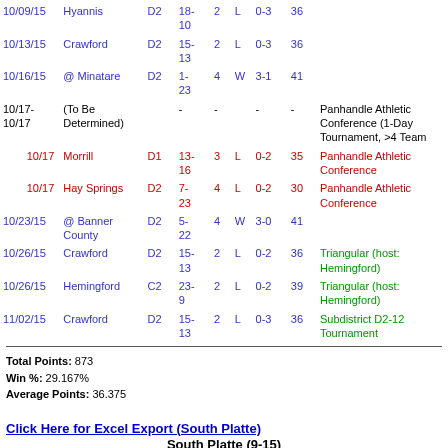| Date | Opponent | Div | Score | Gm | W/L | Record | Pts | Notes |
| --- | --- | --- | --- | --- | --- | --- | --- | --- |
| 10/09/15 | Hyannis | D2 | 18-10 | 2 | L | 0-3 | 36 |  |
| 10/13/15 | Crawford | D2 | 15-13 | 2 | L | 0-3 | 36 |  |
| 10/16/15 | @ Minatare | D2 | 1-23 | 4 | W | 3-1 | 41 |  |
| 10/17-10/17 | (To Be Determined) |  | - | - |  | - | - | Panhandle Athletic Conference (1-Day Tournament, >4 Team |
| 10/17 | Morrill | D1 | 13-16 | 3 | L | 0-2 | 35 | Panhandle Athletic Conference |
| 10/17 | Hay Springs | D2 | 7-23 | 4 | L | 0-2 | 30 | Panhandle Athletic Conference |
| 10/23/15 | @ Banner County | D2 | 5-22 | 4 | W | 3-0 | 41 |  |
| 10/26/15 | Crawford | D2 | 15-13 | 2 | L | 0-2 | 36 | Triangular (host: Hemingford) |
| 10/26/15 | Hemingford | C2 | 23-9 | 2 | L | 0-2 | 39 | Triangular (host: Hemingford) |
| 11/02/15 | Crawford | D2 | 15-13 | 2 | L | 0-3 | 36 | Subdistrict D2-12 Tournament |
Total Points: 873
Win %: 29.167%
Average Points: 36.375
Click Here for Excel Export (South Platte)
South Platte (9-15)